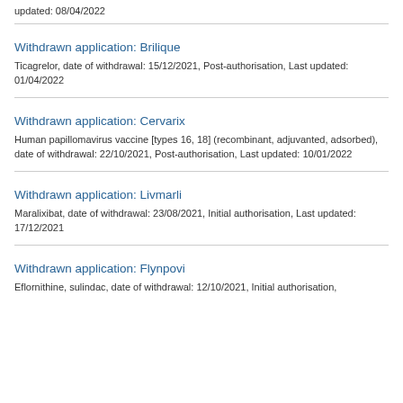updated: 08/04/2022
Withdrawn application: Brilique
Ticagrelor, date of withdrawal: 15/12/2021, Post-authorisation, Last updated: 01/04/2022
Withdrawn application: Cervarix
Human papillomavirus vaccine [types 16, 18] (recombinant, adjuvanted, adsorbed), date of withdrawal: 22/10/2021, Post-authorisation, Last updated: 10/01/2022
Withdrawn application: Livmarli
Maralixibat, date of withdrawal: 23/08/2021, Initial authorisation, Last updated: 17/12/2021
Withdrawn application: Flynpovi
Eflornithine, sulindac, date of withdrawal: 12/10/2021, Initial authorisation,